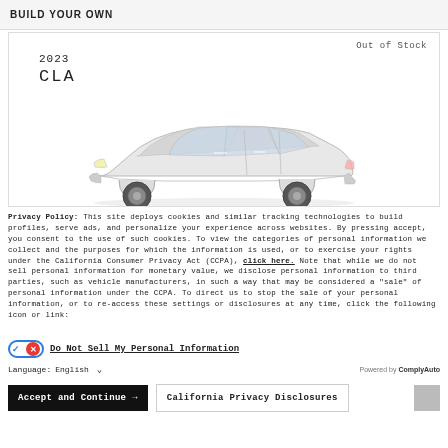BUILD YOUR OWN
[Figure (photo): 2023 CLA Mercedes-Benz sedan, white color, side view, shown in a product card with 'Out of Stock' label]
Privacy Policy: This site deploys cookies and similar tracking technologies to build profiles, serve ads, and personalize your experience across websites. By pressing accept, you consent to the use of such cookies. To view the categories of personal information we collect and the purposes for which the information is used, or to exercise your rights under the California Consumer Privacy Act (CCPA), click here. Note that while we do not sell personal information for monetary value, we disclose personal information to third parties, such as vehicle manufacturers, in such a way that may be considered a "sale" of personal information under the CCPA. To direct us to stop the sale of your personal information, or to re-access these settings or disclosures at any time, click the following icon or link:
Do Not Sell My Personal Information
Language: English
Powered by ComplyAuto
Accept and Continue →
California Privacy Disclosures